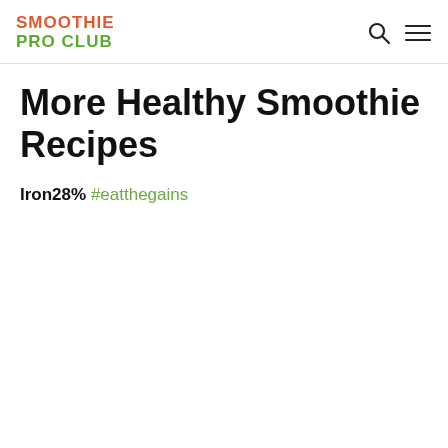SMOOTHIE PRO CLUB
More Healthy Smoothie Recipes
Iron28% #eatthegains